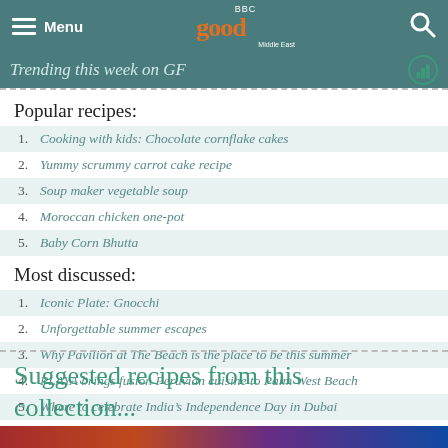BBC Good Food Middle East
Trending this week on GF
Popular recipes:
Cooking with kids: Chocolate cornflake cakes
Yummy scrummy carrot cake recipe
Soup maker vegetable soup
Moroccan chicken one-pot
Baby Corn Bhutta
Most discussed:
Iconic Plate: Gnocchi
Unforgettable summer escapes
Why Pavilion at The Beach is the place to be this summer
PLAYA brings fusion Peruvian cuisine to Palm West Beach
Where to celebrate India’s Independence Day in Dubai
Suggested recipes from this collection...
[Figure (photo): Colorful food image strip at bottom of page]